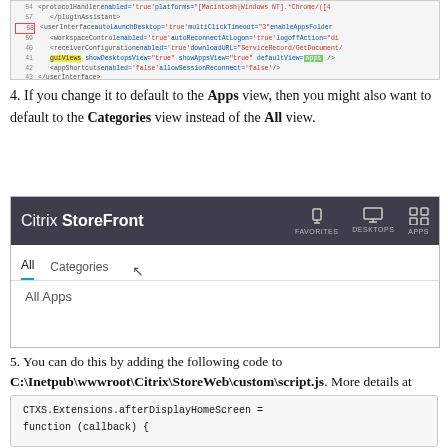[Figure (screenshot): Code editor showing XML configuration with highlighted line containing guiViews element]
4. If you change it to default to the Apps view, then you might also want to default to the Categories view instead of the All view.
[Figure (screenshot): Citrix StoreFront UI screenshot showing header with Favorites, Desktops, Apps tabs and All/Categories tab row with All Apps content]
5. You can do this by adding the following code to C:\Inetpub\wwwroot\Citrix\StoreWeb\custom\script.js. More details at discussions.citrix.com.
[Figure (screenshot): Code block showing CTXS.Extensions.afterDisplayHomeScreen = function (callback) { CTXS.ExtensionAPI.navigateToFolder('/');]